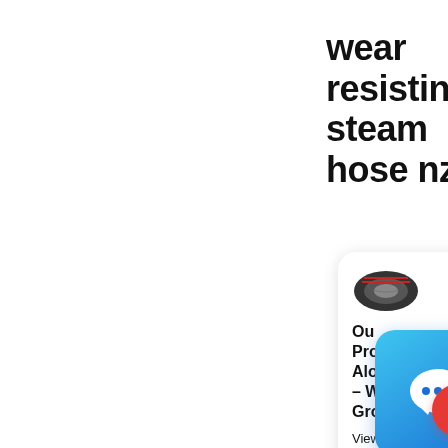wear resisting steam hose nz
[Figure (screenshot): A product card showing a tire/hose image with text: Our Product Alogue – Weir Group, followed by partial text: View complete range of minerc proces]
[Figure (illustration): A chat/messaging app popup icon with blue gradient background and speech bubble icon, with an X close button]
[Figure (illustration): A red circular scroll-to-top button with double chevron up arrow]